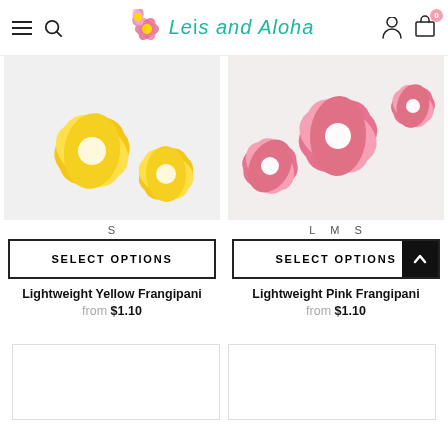Leis and Aloha — navigation header with hamburger menu, search, logo, user icon, and cart (0)
[Figure (photo): Yellow frangipani plumeria flowers on white background, size option S shown below]
[Figure (photo): Pink frangipani plumeria flowers on light background, size options L M S shown below]
S
L  M  S
SELECT OPTIONS
SELECT OPTIONS
Lightweight Yellow Frangipani
Lightweight Pink Frangipani
from  $1.10
from  $1.10
[Figure (photo): Empty product card placeholder bottom left]
[Figure (photo): Empty product card placeholder bottom right]